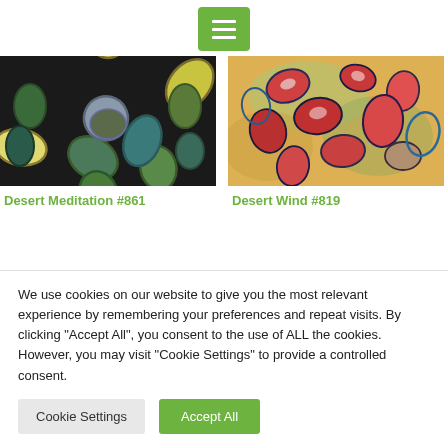[hamburger menu icon]
[Figure (illustration): Abstract floral painting - Desert Meditation #861: Close-up of large flower with yellow and green petals on dark background]
[Figure (illustration): Abstract painting - Desert Wind #819: Colorful abstract with red oval shapes on warm orange/yellow background]
Desert Meditation #861
Desert Wind #819
We use cookies on our website to give you the most relevant experience by remembering your preferences and repeat visits. By clicking "Accept All", you consent to the use of ALL the cookies. However, you may visit "Cookie Settings" to provide a controlled consent.
Cookie Settings | Accept All